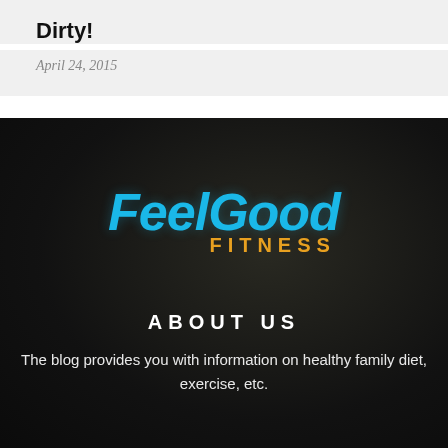Dirty!
April 24, 2015
[Figure (logo): Feel Good Fitness logo with 'FeelGood' in blue italic script font and 'FITNESS' in gold bold uppercase letters, set against a dark background with a blurred outdoor/fitness scene.]
ABOUT US
The blog provides you with information on healthy family diet, exercise, etc.